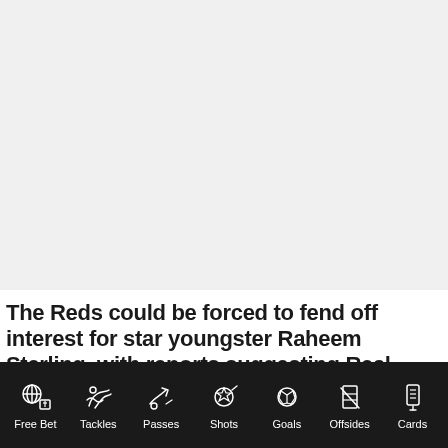[Figure (photo): Large image area, appears light gray/blank in this view, likely a sports photo that is not fully visible]
The Reds could be forced to fend off interest for star youngster Raheem Sterling, with reports suggesting Real
Free Bet | Tackles | Passes | Shots | Goals | Offsides | Cards